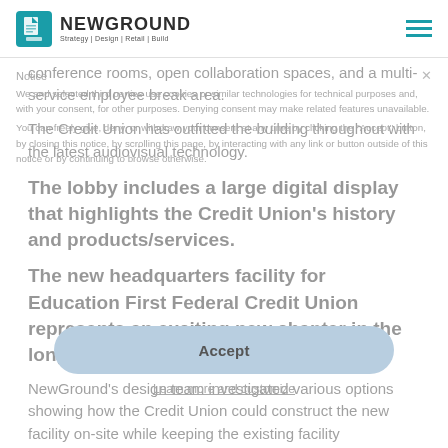NEWGROUND Strategy | Design | Retail | Build
conference rooms, open collaboration spaces, and a multi-service employee break area.
The Credit Union has outfitted the building throughout with the latest audiovisual technology. The lobby includes a large digital display that highlights the Credit Union's history and products/services.
The new headquarters facility for Education First Federal Credit Union represents an exciting new chapter in the long history of the Credit Union. NewGround's design team investigated various options showing how the Credit Union could construct the new facility on-site while keeping the existing facility operational. The building was
Notice × We and selected third parties use cookies or similar technologies for technical purposes and, with your consent, for other purposes. Denying consent may make related features unavailable. You can freely give, deny, or withdraw your consent at any time by clicking the "Accept" button, by closing this notice, by scrolling this page, by interacting with any link or button outside of this notice or by continuing to browse otherwise.
Accept
Learn more and customize